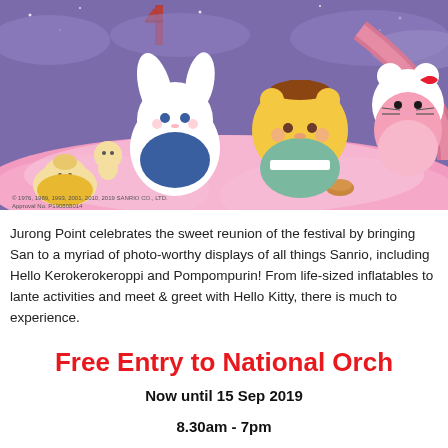[Figure (illustration): Sanrio characters (Cinnamoroll, Pompompurin, Hello Kitty, and other characters) dressed in traditional Asian festival attire against a colorful background with clouds and lanterns. Copyright text reads: © 1976, 1989, 1993, 2001, 2010, 2019 SANRIO CO., LTD. Approval No. P190808014]
Jurong Point celebrates the sweet reunion of the festival by bringing Sanrio to a myriad of photo-worthy displays of all things Sanrio, including Hello Kitty, Kerokerokeroppi and Pompompurin! From life-sized inflatables to lantern activities and meet & greet with Hello Kitty, there is much to experience.
Free Entry to National Orchid Garden
Now until 15 Sep 2019
8.30am - 7pm
National Orchid Garden